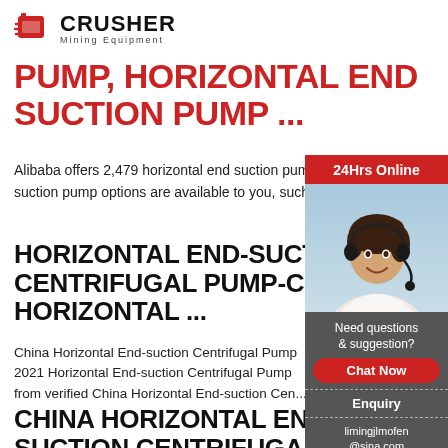CRUSHER Mining Equipment
PUMP, HORIZONTAL END SUCTION PUMP ...
Alibaba offers 2,479 horizontal end suction pump products. A wide variety of horizontal end suction pump options are available to you, such as after-sale service.
HORIZONTAL END-SUCTION CENTRIFUGAL PUMP-CHINA HORIZONTAL ...
China Horizontal End-suction Centrifugal Pump 2021 Horizontal End-suction Centrifugal Pump from verified China Horizontal End-suction Cen...
CHINA HORIZONTAL END SUCTION CENTRIFUGAL PUMPS, CHINA
[Figure (photo): Customer service representative woman with headset, sidebar widget with 24Hrs Online label, Need questions & suggestion text, Chat Now button, Enquiry link, and limingjlmofen@sina.com email]